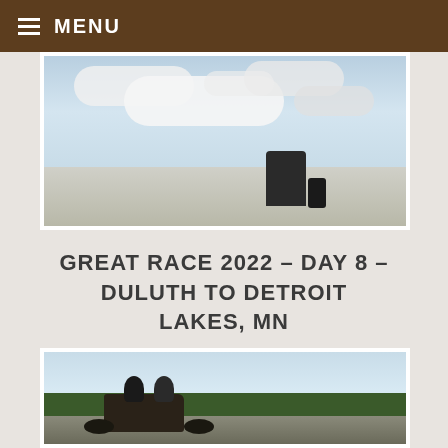MENU
[Figure (photo): Motorcycle rider in dark jacket and helmet on a road against a cloudy sky background]
GREAT RACE 2022 – DAY 8 – DULUTH TO DETROIT LAKES, MN
[Figure (photo): Two helmeted riders in a vintage racing vehicle on a road with trees in the background]